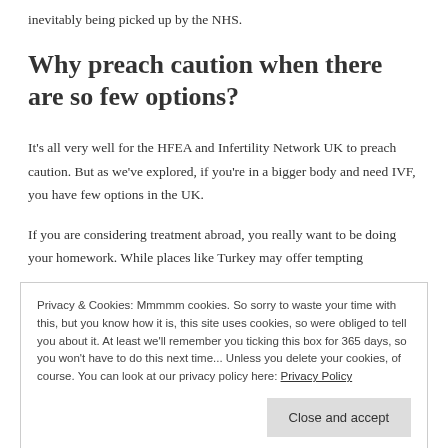inevitably being picked up by the NHS.
Why preach caution when there are so few options?
It's all very well for the HFEA and Infertility Network UK to preach caution. But as we've explored, if you're in a bigger body and need IVF, you have few options in the UK.
If you are considering treatment abroad, you really want to be doing your homework. While places like Turkey may offer tempting
Privacy & Cookies: Mmmmm cookies. So sorry to waste your time with this, but you know how it is, this site uses cookies, so were obliged to tell you about it. At least we'll remember you ticking this box for 365 days, so you won't have to do this next time... Unless you delete your cookies, of course. You can look at our privacy policy here: Privacy Policy
Genuine clinics should be registered with local bodies, and ideally